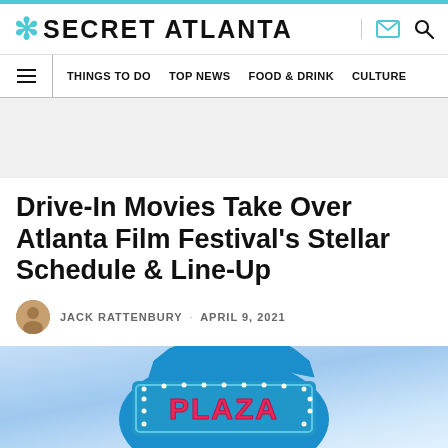SECRET ATLANTA
THINGS TO DO  TOP NEWS  FOOD & DRINK  CULTURE
Drive-In Movies Take Over Atlanta Film Festival's Stellar Schedule & Line-Up
JACK RATTENBURY · APRIL 9, 2021
[Figure (photo): Plaza Theatre sign photo — blue sign with PLAZA text in pink/red letters on a light blue sky background]